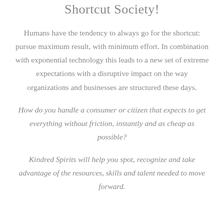Shortcut Society!
Humans have the tendency to always go for the shortcut: pursue maximum result, with minimum effort. In combination with exponential technology this leads to a new set of extreme expectations with a disruptive impact on the way organizations and businesses are structured these days.
How do you handle a consumer or citizen that expects to get everything without friction, instantly and as cheap as possible?
Kindred Spirits will help you spot, recognize and take advantage of the resources, skills and talent needed to move forward.